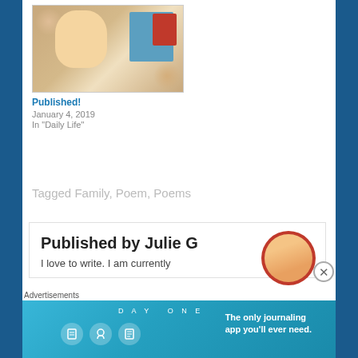[Figure (photo): Photo of a baby in a photo book with floral border design, colorful background]
Published!
January 4, 2019
In "Daily Life"
Tagged Family, Poem, Poems
Published by Julie G
I love to write. I am currently
[Figure (photo): Round avatar photo of Julie G, a blonde woman]
Advertisements
[Figure (screenshot): DAY ONE journaling app advertisement banner with text: The only journaling app you'll ever need.]